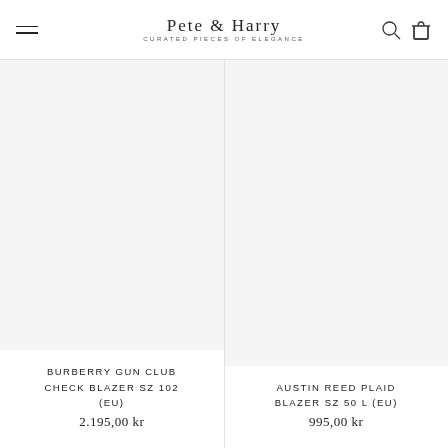Pete & Harry — CURATED PIECES OF ELEGANCE
BURBERRY GUN CLUB CHECK BLAZER SZ 102 (EU)
2.195,00 kr
AUSTIN REED PLAID BLAZER SZ 50 L (EU)
995,00 kr